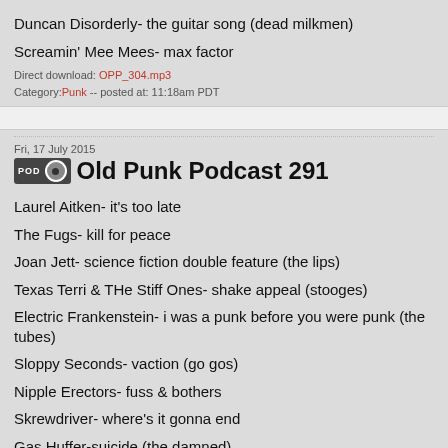Duncan Disorderly- the guitar song (dead milkmen)
Screamin' Mee Mees- max factor
Direct download: OPP_304.mp3
Category: Punk -- posted at: 11:18am PDT
Fri, 17 July 2015
Old Punk Podcast 291
Laurel Aitken- it's too late
The Fugs- kill for peace
Joan Jett- science fiction double feature (the lips)
Texas Terri & THe Stiff Ones- shake appeal (stooges)
Electric Frankenstein- i was a punk before you were punk (the tubes)
Sloppy Seconds- vaction (go gos)
Nipple Erectors- fuss & bothers
Skrewdriver- where's it gonna end
Gas Huffer-suicide (the damned)
The Damned- melody lee
Bunny Gang- international cover up (rancid)
Java The Cat- government center'